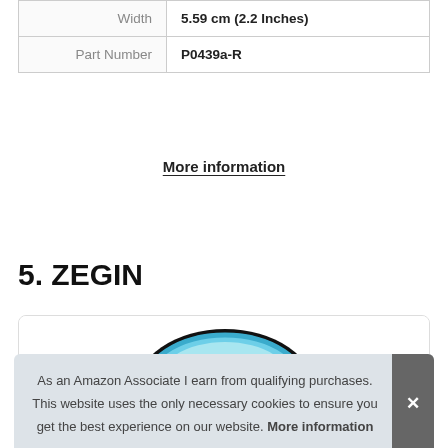| Width | 5.59 cm (2.2 Inches) |
| Part Number | P0439a-R |
More information
5. ZEGIN
[Figure (photo): Embroidered patch product image, partially visible, showing colorful circular embroidered design with blue, multicolored threads on black background.]
As an Amazon Associate I earn from qualifying purchases. This website uses the only necessary cookies to ensure you get the best experience on our website. More information